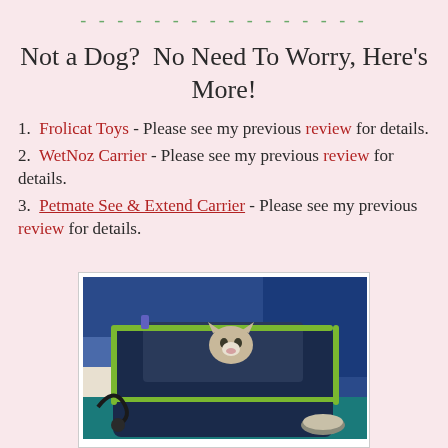----------------
Not a Dog?  No Need To Worry, Here's More!
1.  Frolicat Toys - Please see my previous review for details.
2.  WetNoz Carrier - Please see my previous review for details.
3.  Petmate See & Extend Carrier - Please see my previous review for details.
[Figure (photo): A cat sitting in a dark blue and green pet carrier on what appears to be a vehicle seat, with blue fabric visible in the background and a food bowl nearby.]